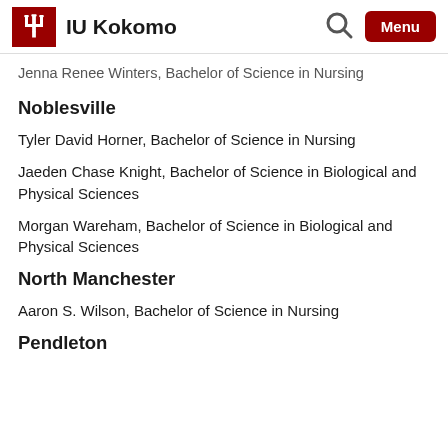IU Kokomo
Jenna Renee Winters, Bachelor of Science in Nursing
Noblesville
Tyler David Horner, Bachelor of Science in Nursing
Jaeden Chase Knight, Bachelor of Science in Biological and Physical Sciences
Morgan Wareham, Bachelor of Science in Biological and Physical Sciences
North Manchester
Aaron S. Wilson, Bachelor of Science in Nursing
Pendleton